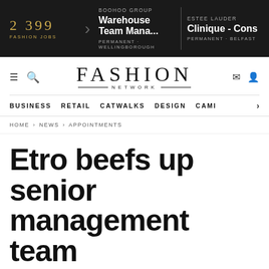2 399 FASHION JOBS | BOOHOO GROUP Warehouse Team Mana... PERMANENT - WELLINGBOROUGH | ESTEE LAUDER Clinique - Cons PERMANENT - BELFAST
[Figure (logo): Fashion Network logo with FASHION in large serif type and NETWORK below with decorative lines]
BUSINESS   RETAIL   CATWALKS   DESIGN   CAMI >
HOME > NEWS > APPOINTMENTS
Etro beefs up senior management team
By